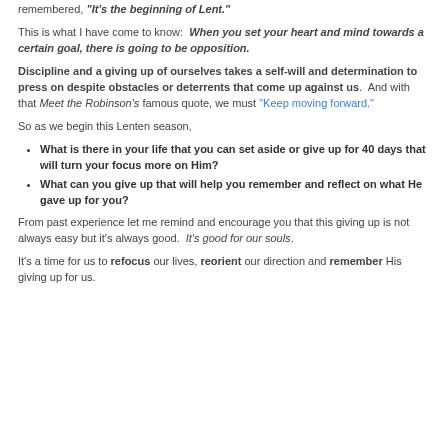remembered, "It's the beginning of Lent."
This is what I have come to know: When you set your heart and mind towards a certain goal, there is going to be opposition.
Discipline and a giving up of ourselves takes a self-will and determination to press on despite obstacles or deterrents that come up against us. And with that Meet the Robinson's famous quote, we must "Keep moving forward."
So as we begin this Lenten season,
What is there in your life that you can set aside or give up for 40 days that will turn your focus more on Him?
What can you give up that will help you remember and reflect on what He gave up for you?
From past experience let me remind and encourage you that this giving up is not always easy but it's always good. It's good for our souls.
It's a time for us to refocus our lives, reorient our direction and remember His giving up for us.